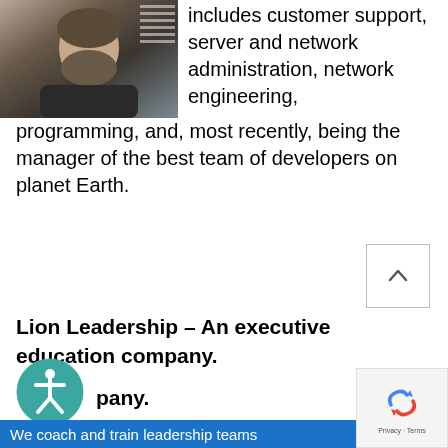[Figure (photo): Headshot of a man with a beard, photographed in front of a window with blinds]
includes customer support, server and network administration, network engineering, programming, and, most recently, being the manager of the best team of developers on planet Earth.
Lion Leadership – An executive education company.
[Figure (logo): Accessibility icon: teal circle with person figure]
We coach and train leadership teams
[Figure (logo): reCAPTCHA logo with Privacy and Terms text]